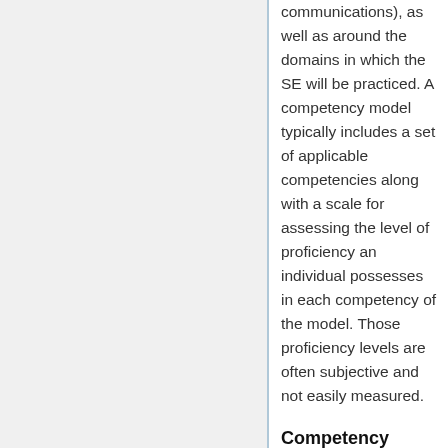(…communications), as well as around the domains in which the SE will be practiced. A competency model typically includes a set of applicable competencies along with a scale for assessing the level of proficiency an individual possesses in each competency of the model. Those proficiency levels are often subjective and not easily measured.
Competency Models
More organisation...